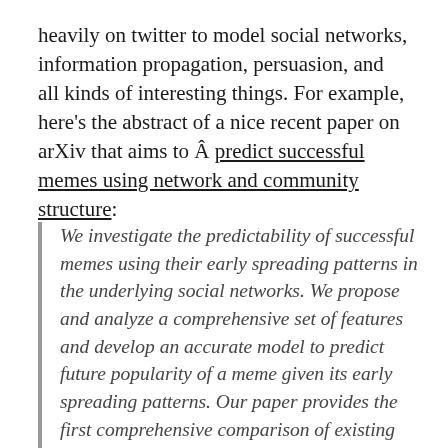heavily on twitter to model social networks, information propagation, persuasion, and all kinds of interesting things. For example, here's the abstract of a nice recent paper on arXiv that aims to Â predict successful memes using network and community structure:
We investigate the predictability of successful memes using their early spreading patterns in the underlying social networks. We propose and analyze a comprehensive set of features and develop an accurate model to predict future popularity of a meme given its early spreading patterns. Our paper provides the first comprehensive comparison of existing predictive frameworks. We categorize our features into three groups: influence of early adopters, community concentration, and characteristics of adoption time series. We find that features based on community structure are the most powerful predictors of future success. We also find that early popularity of a meme is